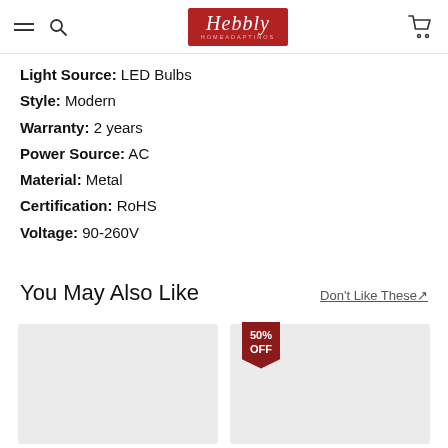Hebbly — navigation bar with hamburger menu, search, logo, and cart
Light Source: LED Bulbs
Style: Modern
Warranty: 2 years
Power Source: AC
Material: Metal
Certification: RoHS
Voltage: 90-260V
You May Also Like
Don't Like These↗
[Figure (photo): Product placeholder card 1 — light grey rectangle]
[Figure (photo): Product placeholder card 2 — light grey rectangle with 50% OFF badge]